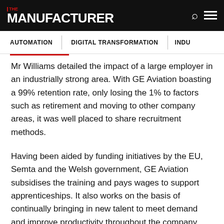THE MANUFACTURER
AUTOMATION | DIGITAL TRANSFORMATION | INDU
Mr Williams detailed the impact of a large employer in an industrially strong area. With GE Aviation boasting a 99% retention rate, only losing the 1% to factors such as retirement and moving to other company areas, it was well placed to share recruitment methods.
Having been aided by funding initiatives by the EU, Semta and the Welsh government, GE Aviation subsidises the training and pays wages to support apprenticeships. It also works on the basis of continually bringing in new talent to meet demand and improve productivity throughout the company.